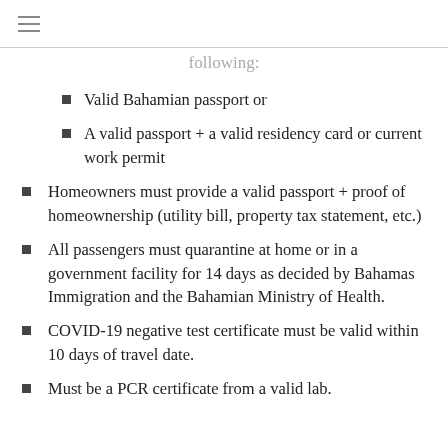≡
following:
Valid Bahamian passport or
A valid passport + a valid residency card or current work permit
Homeowners must provide a valid passport + proof of homeownership (utility bill, property tax statement, etc.)
All passengers must quarantine at home or in a government facility for 14 days as decided by Bahamas Immigration and the Bahamian Ministry of Health.
COVID-19 negative test certificate must be valid within 10 days of travel date.
Must be a PCR certificate from a valid lab.